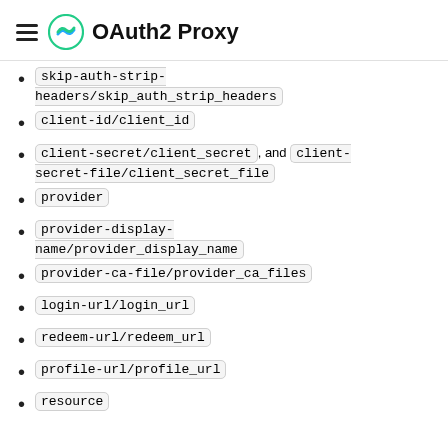OAuth2 Proxy
skip-auth-strip-headers/skip_auth_strip_headers
client-id/client_id
client-secret/client_secret, and client-secret-file/client_secret_file
provider
provider-display-name/provider_display_name
provider-ca-file/provider_ca_files
login-url/login_url
redeem-url/redeem_url
profile-url/profile_url
resource